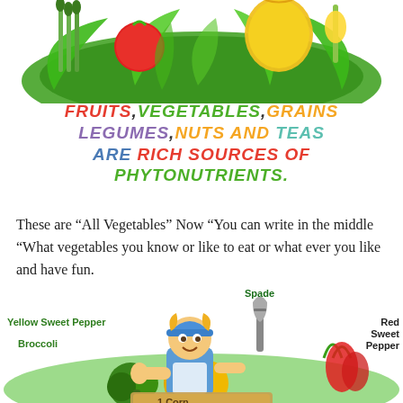[Figure (illustration): Colorful arrangement of fresh fruits and vegetables including tomatoes, yellow pepper, asparagus, corn, and leafy greens viewed from above]
FRUITS, VEGETABLES, GRAINS LEGUMES, NUTS AND TEAS ARE RICH SOURCES OF PHYTONUTRIENTS.
These are “All Vegetables” Now “You can write in the middle “What vegetables you know or like to eat or what ever you like and have fun.
[Figure (illustration): Cartoon farmer boy with blue cap holding a spade, surrounded by labeled vegetables: Yellow Sweet Pepper, Broccoli on left side; Spade label at top right; Red Sweet Pepper on right side. A sign at bottom partially reads '1 Corn'.]